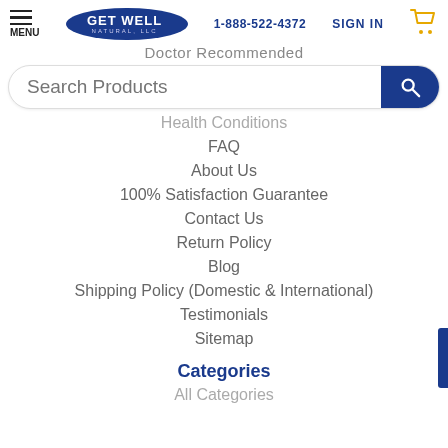MENU | GET WELL NATURAL, LLC | 1-888-522-4372 | SIGN IN
Doctor Recommended
Search Products
Health Conditions
FAQ
About Us
100% Satisfaction Guarantee
Contact Us
Return Policy
Blog
Shipping Policy (Domestic & International)
Testimonials
Sitemap
Categories
All Categories